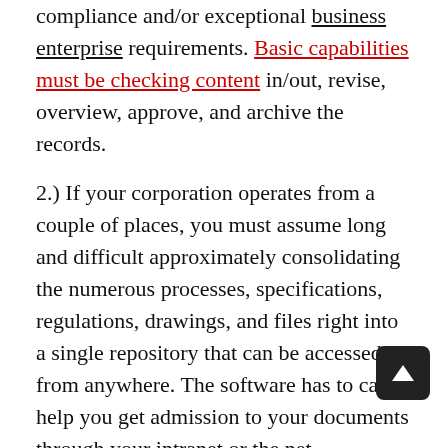compliance and/or exceptional business enterprise requirements. Basic capabilities must be checking content in/out, revise, overview, approve, and archive the records.
2.) If your corporation operates from a couple of places, you must assume long and difficult approximately consolidating the numerous processes, specifications, regulations, drawings, and files right into a single repository that can be accessed from anywhere. The software has to can help you get admission to your documents through your intranet or the net.
Three.) Companies spend an inordinate quantity of time and energy seeking to maintain many locations and/or departments at the equal contemporary sheet. File stock email create duplications that right away cause wasting your time, effort, and sources. The software program chosen ought to control how customers see and paintings from the present